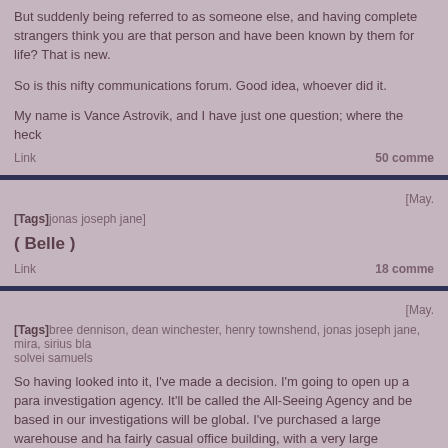But suddenly being referred to as someone else, and having complete strangers think you are that person and have been known by them for life? That is new.
So is this nifty communications forum. Good idea, whoever did it.
My name is Vance Astrovik, and I have just one question; where the heck
Link   50 comme
[May.
[Tags]jonas joseph jane]
( Belle )
Link   18 comme
[May.
[Tags] bree dennison, dean winchester, henry townshend, jonas joseph jane, mira, sirius bla solvei samuels
So having looked into it, I've made a decision. I'm going to open up a para investigation agency. It'll be called the All-Seeing Agency and be based in our investigations will be global. I've purchased a large warehouse and ha fairly casual office building, with a very large storeroom.
I am going to need people proficient with magic to put wards on this store different kinds of wards. Pretty much any protective ward you can think of